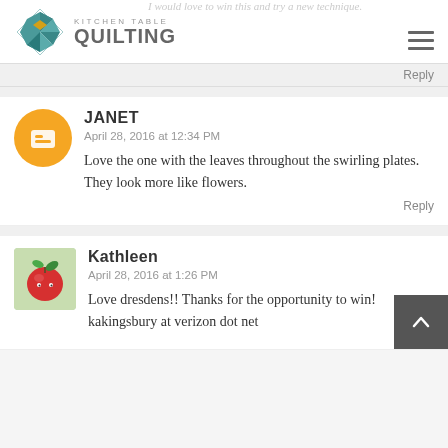[Figure (logo): Kitchen Table Quilting logo with quilt block icon]
Reply
JANET
April 28, 2016 at 12:34 PM
Love the one with the leaves throughout the swirling plates. They look more like flowers.
Reply
Kathleen
April 28, 2016 at 1:26 PM
Love dresdens!! Thanks for the opportunity to win! kakingsbury at verizon dot net